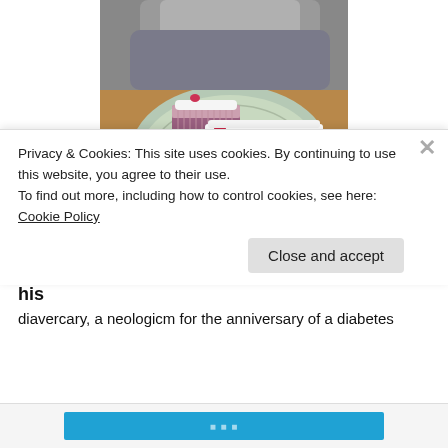[Figure (photo): A child looking at two bars of layered soap (pink, lavender, white) on a green plate on a wooden surface.]
Semisweet Soap (0 carbs)
We haven't figured out how to mark or celebrate his
diavercary, a neologicm for the anniversary of a diabetes
Privacy & Cookies: This site uses cookies. By continuing to use this website, you agree to their use.
To find out more, including how to control cookies, see here: Cookie Policy
Close and accept